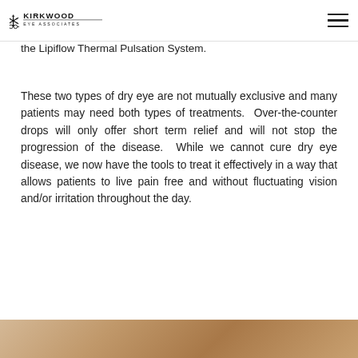Kirkwood Eye Associates
the Lipiflow Thermal Pulsation System.
These two types of dry eye are not mutually exclusive and many patients may need both types of treatments. Over-the-counter drops will only offer short term relief and will not stop the progression of the disease. While we cannot cure dry eye disease, we now have the tools to treat it effectively in a way that allows patients to live pain free and without fluctuating vision and/or irritation throughout the day.
[Figure (photo): Bottom strip showing a person's hair/head, partially visible at the bottom of the page]